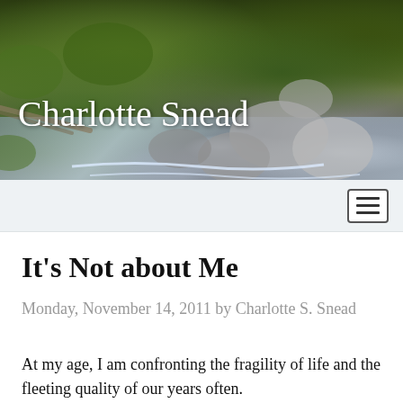[Figure (photo): Header photo of a rocky creek or stream with moss-covered rocks and flowing water, with green mossy boulders in the background]
Charlotte Snead
[Figure (other): Navigation bar with hamburger menu icon (three horizontal lines) on the right side, light gray background]
It's Not about Me
Monday, November 14, 2011 by Charlotte S. Snead
At my age, I am confronting the fragility of life and the fleeting quality of our years often.